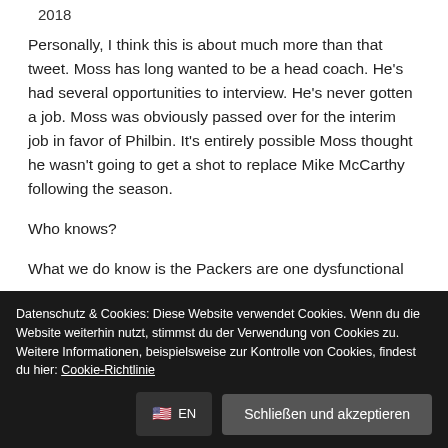2018
Personally, I think this is about much more than that tweet. Moss has long wanted to be a head coach. He's had several opportunities to interview. He's never gotten a job. Moss was obviously passed over for the interim job in favor of Philbin. It's entirely possible Moss thought he wasn't going to get a shot to replace Mike McCarthy following the season.
Who knows?
What we do know is the Packers are one dysfunctional
Datenschutz & Cookies: Diese Website verwendet Cookies. Wenn du die Website weiterhin nutzt, stimmst du der Verwendung von Cookies zu. Weitere Informationen, beispielsweise zur Kontrolle von Cookies, findest du hier: Cookie-Richtlinie
Schließen und akzeptieren
🇺🇸 EN